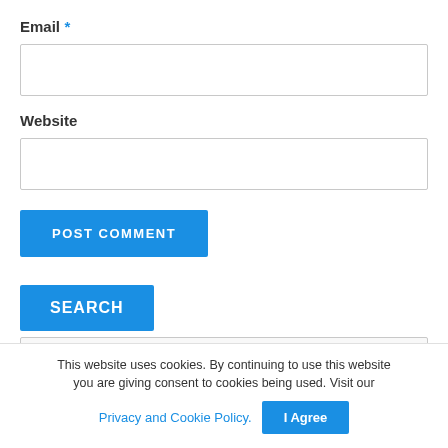Email *
Website
POST COMMENT
SEARCH
Search...
This website uses cookies. By continuing to use this website you are giving consent to cookies being used. Visit our Privacy and Cookie Policy.
I Agree